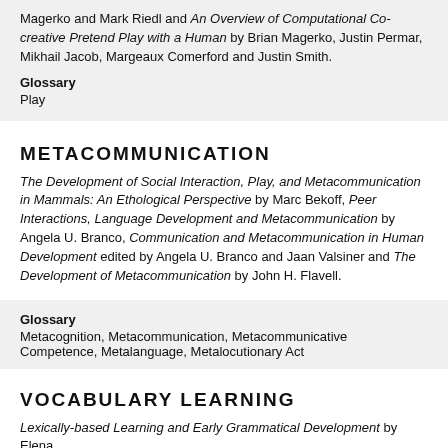Magerko and Mark Riedl and An Overview of Computational Co-creative Pretend Play with a Human by Brian Magerko, Justin Permar, Mikhail Jacob, Margeaux Comerford and Justin Smith.
Glossary
Play
METACOMMUNICATION
The Development of Social Interaction, Play, and Metacommunication in Mammals: An Ethological Perspective by Marc Bekoff, Peer Interactions, Language Development and Metacommunication by Angela U. Branco, Communication and Metacommunication in Human Development edited by Angela U. Branco and Jaan Valsiner and The Development of Metacommunication by John H. Flavell.
Glossary
Metacognition, Metacommunication, Metacommunicative Competence, Metalanguage, Metalocutionary Act
VOCABULARY LEARNING
Lexically-based Learning and Early Grammatical Development by Elena